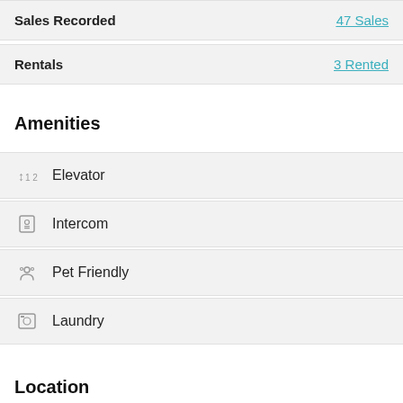Sales Recorded | 47 Sales
Rentals | 3 Rented
Amenities
Elevator
Intercom
Pet Friendly
Laundry
Location
[Figure (map): Map showing area near Sailors' Monument with nearby restaurants including Trader Joe's]